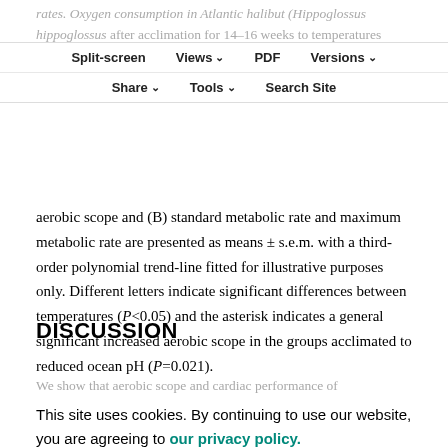rates. Oxygen consumption in Atlantic halibut (Hippoglossus hippoglossus) after acclimation for 14–16 weeks to temperatures between 5 and 18°C in seawater with current ocean pH and in seawater with pH reduced by 0.4 units using CO2 (n=8). Data for (A) aerobic scope and (B) standard metabolic rate and maximum metabolic rate are presented as means ± s.e.m. with a third-order polynomial trend-line fitted for illustrative purposes only. Different letters indicate significant differences between temperatures (P<0.05) and the asterisk indicates a general significant increased aerobic scope in the groups acclimated to reduced ocean pH (P=0.021).
DISCUSSION
We show that aerobic scope and cardiac performance of Atlantic halibut, a marine teleost species, increase following long-term acclimation to elevated temperatures alone and in interaction with reduced seawater pH.